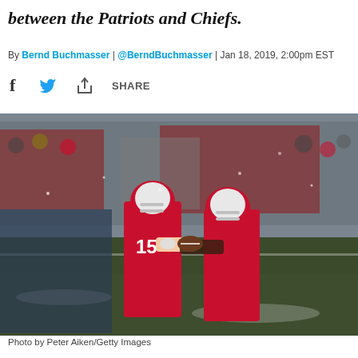between the Patriots and Chiefs.
By Bernd Buchmasser | @BerndBuchmasser | Jan 18, 2019, 2:00pm EST
[Figure (photo): Kansas City Chiefs quarterback (number 15) handing off the football to a running back during a snowy NFL game. Crowd visible in background.]
Photo by Peter Aiken/Getty Images